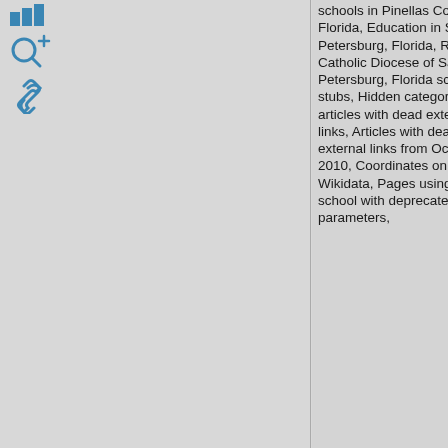[Figure (other): Wikipedia-style UI icons: bar chart icon (blue), magnifying glass with plus, and link/chain icon, arranged vertically in top-left sidebar]
schools in Pinellas County, Florida, Education in St. Petersburg, Florida, Roman Catholic Diocese of Saint Petersburg, Florida school stubs, Hidden categories:, All articles with dead external links, Articles with dead external links from October 2010, Coordinates on Wikidata, Pages using infobox school with deprecated parameters,